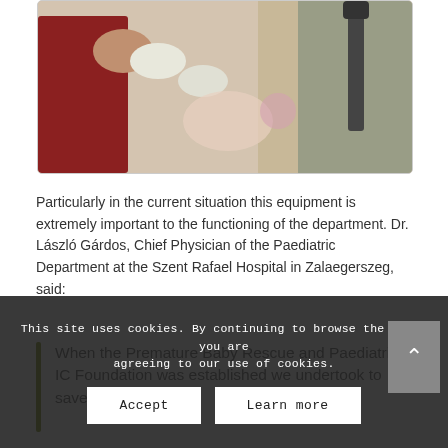[Figure (photo): Medical scene showing healthcare workers in gloves performing a procedure, possibly on a medical training mannequin, with a person in a red top and another in medical scrubs.]
Particularly in the current situation this equipment is extremely important to the functioning of the department. Dr. László Gárdos, Chief Physician of the Paediatric Department at the Szent Rafael Hospital in Zalaegerszeg, said:
When the Premature Baby Rescue and Paediatric IC Foundation was established we undertook to save
This site uses cookies. By continuing to browse the site, you are agreeing to our use of cookies.